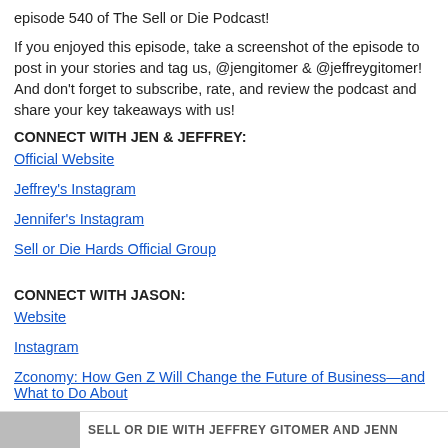episode 540 of The Sell or Die Podcast!
If you enjoyed this episode, take a screenshot of the episode to post in your stories and tag us, @jengitomer & @jeffreygitomer!  And don't forget to subscribe, rate, and review the podcast and share your key takeaways with us!
CONNECT WITH JEN & JEFFREY:
Official Website
Jeffrey's Instagram
Jennifer's Instagram
Sell or Die Hards Official Group
CONNECT WITH JASON:
Website
Instagram
Zconomy: How Gen Z Will Change the Future of Business—and What to Do About
SELL OR DIE WITH JEFFREY GITOMER AND JENN